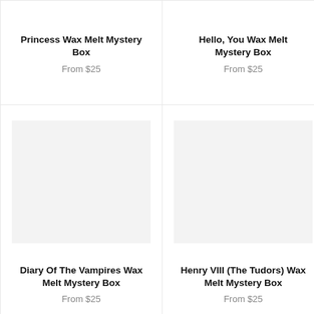Princess Wax Melt Mystery Box
From $25
Hello, You Wax Melt Mystery Box
From $25
[Figure (photo): Product image placeholder for Diary Of The Vampires Wax Melt Mystery Box]
Diary Of The Vampires Wax Melt Mystery Box
From $25
[Figure (photo): Product image placeholder for Henry VIII (The Tudors) Wax Melt Mystery Box]
Henry VIII (The Tudors) Wax Melt Mystery Box
From $25